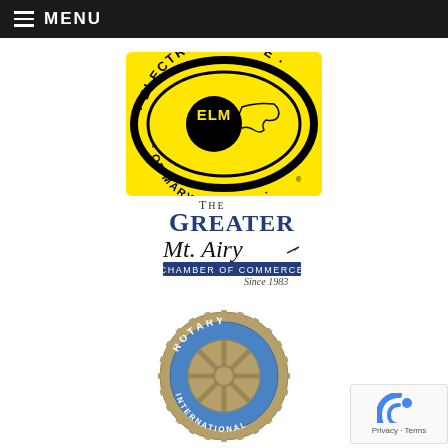MENU
[Figure (logo): Electric League of Maryland Inc. (ELM) logo — circular yellow oval badge with black text reading ELECTRIC LEAGUE OF MARYLAND INC. and ELM in center with Maryland state outline]
[Figure (logo): The Greater Mt. Airy Chamber of Commerce logo — serif/script type with blue banner reading CHAMBER OF COMMERCE, Since 1983]
[Figure (logo): Rotary International gear/wheel logo in blue and gold with text ROTARY and INTERNATIONAL]